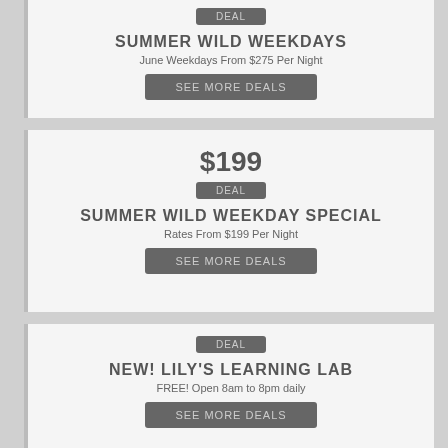DEAL
SUMMER WILD WEEKDAYS
June Weekdays From $275 Per Night
SEE MORE DEALS
$199
DEAL
SUMMER WILD WEEKDAY SPECIAL
Rates From $199 Per Night
SEE MORE DEALS
DEAL
NEW! LILY'S LEARNING LAB
FREE! Open 8am to 8pm daily
SEE MORE DEALS